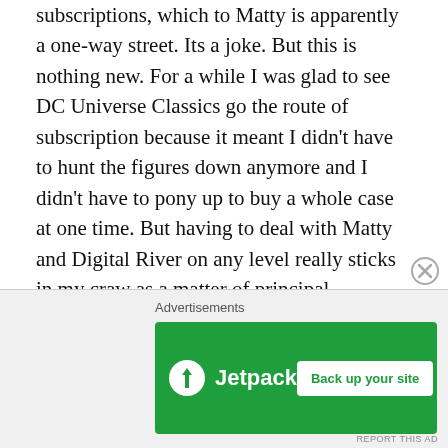subscriptions, which to Matty is apparently a one-way street. Its a joke. But this is nothing new. For a while I was glad to see DC Universe Classics go the route of subscription because it meant I didn't have to hunt the figures down anymore and I didn't have to pony up to buy a whole case at one time. But having to deal with Matty and Digital River on any level really sticks in my craw as a matter of principal.

If I weren't so busy this week, I'd be tempted to cancel the rest of this week's DC Universe Classics features in protest, but I wouldn't have time to brew up anything else, so I guess I'll press on.
[Figure (other): Advertisement banner for Jetpack with green background, Jetpack logo on left and 'Back up your site' button on right]